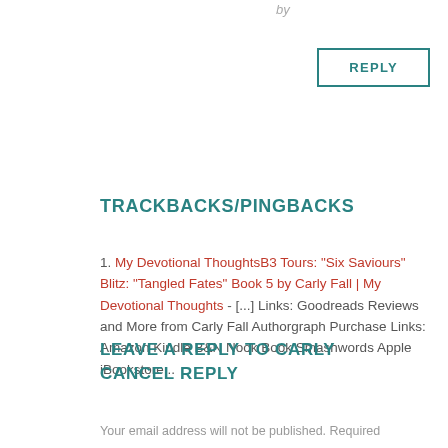by
REPLY
TRACKBACKS/PINGBACKS
1. My Devotional ThoughtsB3 Tours: "Six Saviours" Blitz: "Tangled Fates" Book 5 by Carly Fall | My Devotional Thoughts - [...] Links: Goodreads Reviews and More from Carly Fall Authorgraph Purchase Links: Amazon Kindle B&N Nook Book Smashwords Apple iBookstore...
2. Fabulous and Fun | Six Saviors Series Book Spotlight: Tangled Fates Book 5 - [...]  Reviews and More from Carly Fall  | [...]
LEAVE A REPLY TO CARLY
CANCEL REPLY
Your email address will not be published. Required